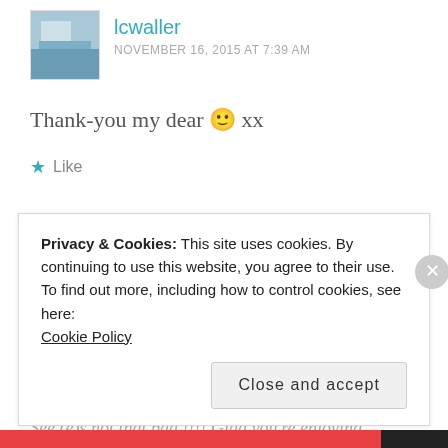lcwaller
NOVEMBER 16, 2015 AT 7:39 AM
Thank-you my dear 🙂 xx
★ Like
zoeforman
NOVEMBER 16, 2015 AT 9:43 AM
See (e)s not that bad !!!! Glad you're enjoying
Privacy & Cookies: This site uses cookies. By continuing to use this website, you agree to their use.
To find out more, including how to control cookies, see here:
Cookie Policy
Close and accept